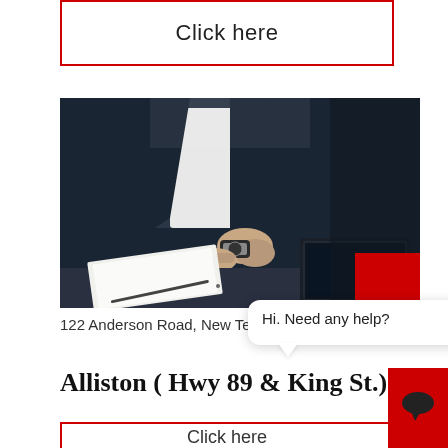Click here
[Figure (photo): A business professional in a dark suit checking a watch, sitting at a desk with papers, a pen, and a laptop, with a red decorative square overlay in the bottom right of the image.]
122 Anderson Road, New Tecumseh
Hi. Need any help?
Alliston ( Hwy 89 & King St.)
Click here